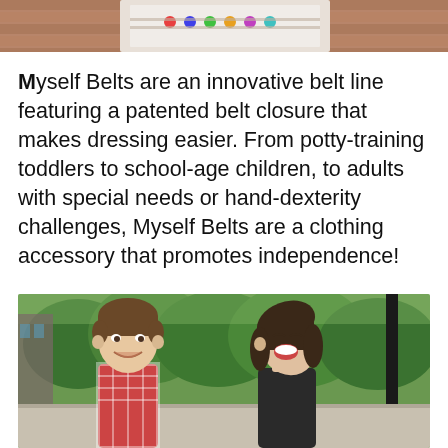[Figure (photo): Partial photo at top of page showing colorful dots/beads on what appears to be a belt product, cropped]
Myself Belts are an innovative belt line featuring a patented belt closure that makes dressing easier. From potty-training toddlers to school-age children, to adults with special needs or hand-dexterity challenges, Myself Belts are a clothing accessory that promotes independence!
[Figure (photo): Photo of two children outdoors — a boy on the left smiling and a girl on the right laughing with head tilted back, green trees in background]